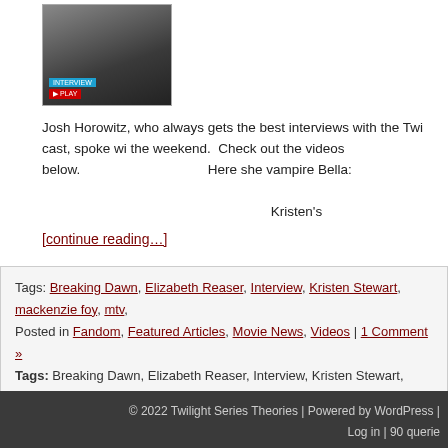[Figure (photo): A photo thumbnail showing people being interviewed, appears to be a TV/video screenshot with a blue overlay label and red label at bottom left.]
Josh Horowitz, who always gets the best interviews with the Twi cast, spoke with the weekend.  Check out the videos below.                              Here she vampire Bella:                                                            Kristen's
[continue reading...]
Tags: Breaking Dawn, Elizabeth Reaser, Interview, Kristen Stewart, mackenzie foy, mtv,
Posted in Fandom, Featured Articles, Movie News, Videos | 1 Comment »
Tags: Breaking Dawn, Elizabeth Reaser, Interview, Kristen Stewart, mackenzie foy, mtv,
Previous entries
© 2022 Twilight Series Theories | Powered by WordPress |
Log in | 90 querie